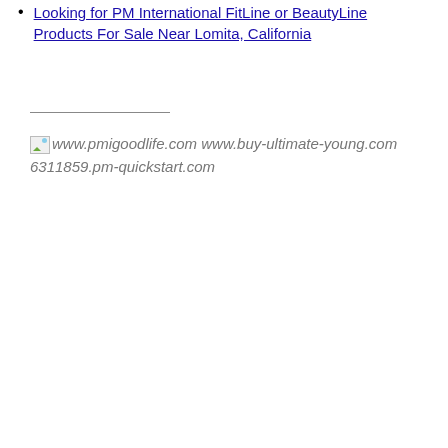Looking for PM International FitLine or BeautyLine Products For Sale Near Lomita, California
www.pmigoodlife.com www.buy-ultimate-young.com 6311859.pm-quickstart.com